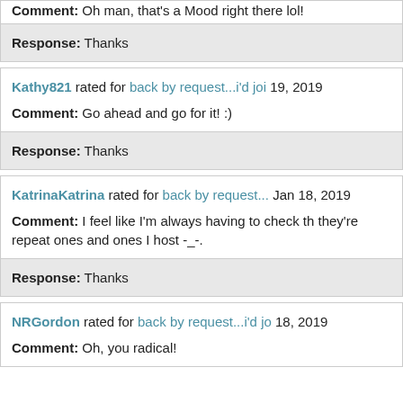Comment: Oh man, that's a Mood right there lol!
Response: Thanks
Kathy821 rated for back by request...i'd joi 19, 2019
Comment: Go ahead and go for it! :)
Response: Thanks
KatrinaKatrina rated for back by request... Jan 18, 2019
Comment: I feel like I'm always having to check th they're repeat ones and ones I host -_-.
Response: Thanks
NRGordon rated for back by request...i'd jo 18, 2019
Comment: Oh, you radical!